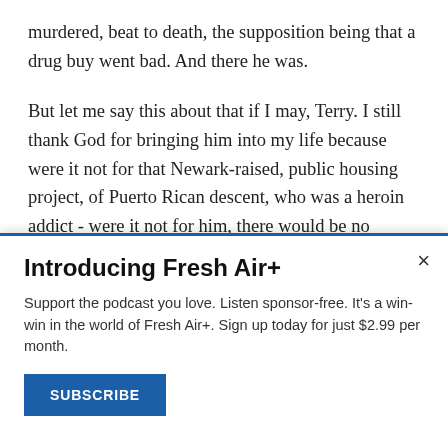murdered, beat to death, the supposition being that a drug buy went bad. And there he was.

But let me say this about that if I may, Terry. I still thank God for bringing him into my life because were it not for that Newark-raised, public housing project, of Puerto Rican descent, who was a heroin addict - were it not for him, there would be no Centurion Ministries. Not only would there be no Centurion Ministries, but I would have been lost in the
[Figure (other): Popup/modal overlay for Fresh Air+ subscription promotion with title 'Introducing Fresh Air+', body text, and a SUBSCRIBE button]